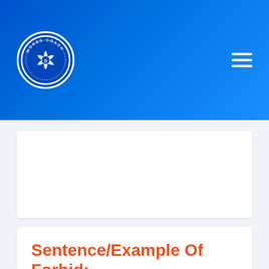[Figure (logo): Words Coach logo — circular badge with camera aperture icon and text 'WORDS COACH' around the border, on a blue gradient header with hamburger menu icon]
Sentence/Example Of Forbid:
The justices were considering the